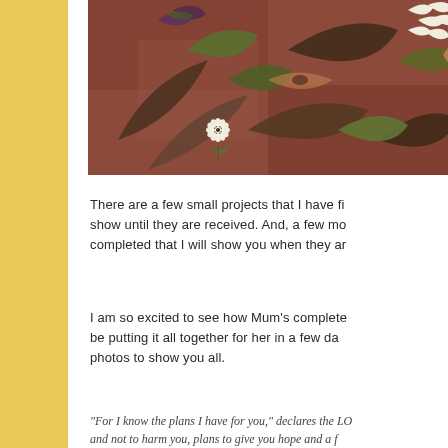[Figure (photo): Close-up of a decorative artwork featuring floral and leaf motifs in brown, green, purple, and white on a brownish-red background. Includes a white dotted flower and white leaf-like blooms.]
There are a few small projects that I have fi... show until they are received. And, a few mo... completed that I will show you when they ar...
I am so excited to see how Mum's complete... be putting it all together for her in a few da... photos to show you all.
"For I know the plans I have for you," declares the LO... and not to harm you, plans to give you hope and a f...